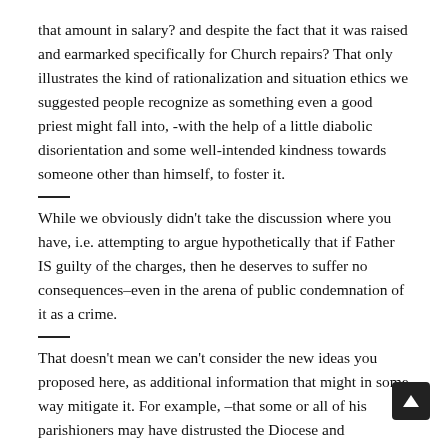that amount in salary? and despite the fact that it was raised and earmarked specifically for Church repairs? That only illustrates the kind of rationalization and situation ethics we suggested people recognize as something even a good priest might fall into, -with the help of a little diabolic disorientation and some well-intended kindness towards someone other than himself, to foster it.
While we obviously didn't take the discussion where you have, i.e. attempting to argue hypothetically that if Father IS guilty of the charges, then he deserves to suffer no consequences–even in the arena of public condemnation of it as a crime.
That doesn't mean we can't consider the new ideas you proposed here, as additional information that might in some way mitigate it. For example, –that some or all of his parishioners may have distrusted the Diocese and designated funds for his personal use only, is a